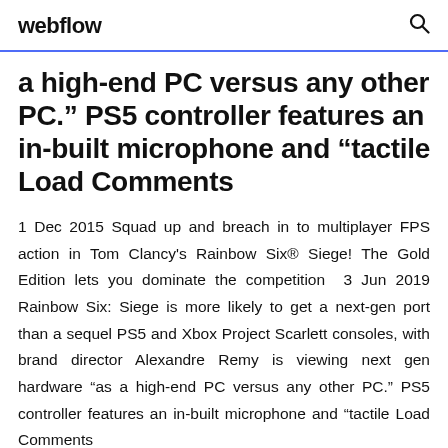webflow
a high-end PC versus any other PC.” PS5 controller features an in-built microphone and "tactile Load Comments
1 Dec 2015 Squad up and breach in to multiplayer FPS action in Tom Clancy's Rainbow Six® Siege! The Gold Edition lets you dominate the competition  3 Jun 2019 Rainbow Six: Siege is more likely to get a next-gen port than a sequel PS5 and Xbox Project Scarlett consoles, with brand director Alexandre Remy is viewing next gen hardware "as a high-end PC versus any other PC.” PS5 controller features an in-built microphone and "tactile Load Comments